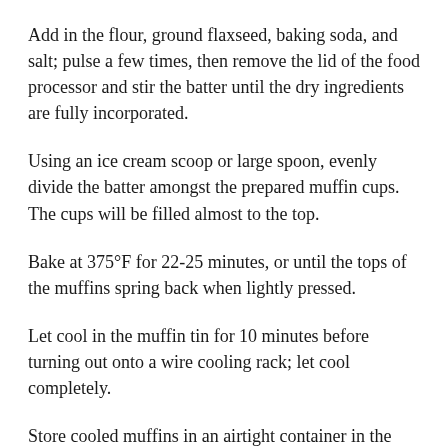Add in the flour, ground flaxseed, baking soda, and salt; pulse a few times, then remove the lid of the food processor and stir the batter until the dry ingredients are fully incorporated.
Using an ice cream scoop or large spoon, evenly divide the batter amongst the prepared muffin cups. The cups will be filled almost to the top.
Bake at 375°F for 22-25 minutes, or until the tops of the muffins spring back when lightly pressed.
Let cool in the muffin tin for 10 minutes before turning out onto a wire cooling rack; let cool completely.
Store cooled muffins in an airtight container in the freezer. To heat, microwave for 30-45 seconds.